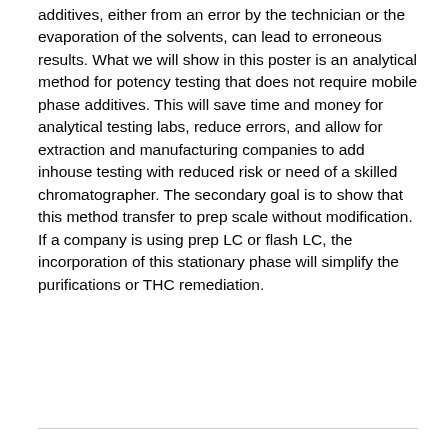additives, either from an error by the technician or the evaporation of the solvents, can lead to erroneous results. What we will show in this poster is an analytical method for potency testing that does not require mobile phase additives. This will save time and money for analytical testing labs, reduce errors, and allow for extraction and manufacturing companies to add inhouse testing with reduced risk or need of a skilled chromatographer. The secondary goal is to show that this method transfer to prep scale without modification. If a company is using prep LC or flash LC, the incorporation of this stationary phase will simplify the purifications or THC remediation.